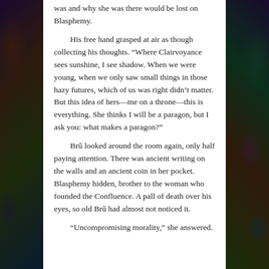was and why she was there would be lost on Blasphemy.

His free hand grasped at air as though collecting his thoughts. “Where Clairvoyance sees sunshine, I see shadow. When we were young, when we only saw small things in those hazy futures, which of us was right didn’t matter. But this idea of hers—me on a throne—this is everything. She thinks I will be a paragon, but I ask you: what makes a paragon?”

Brû looked around the room again, only half paying attention. There was ancient writing on the walls and an ancient coin in her pocket. Blasphemy hidden, brother to the woman who founded the Confluence. A pall of death over his eyes, so old Brû had almost not noticed it.

“Uncompromising morality,” she answered.